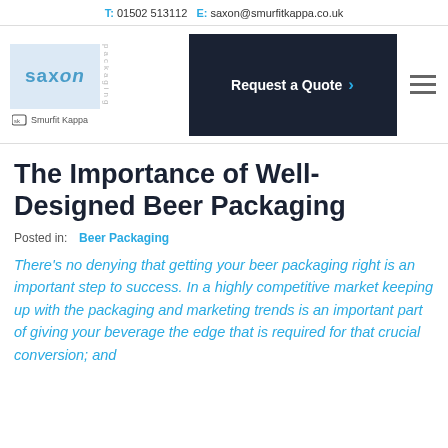T: 01502 513112  E: saxon@smurfitkappa.co.uk
[Figure (logo): Saxon Packaging / Smurfit Kappa logo on left, Request a Quote dark button in center, hamburger menu icon on right]
The Importance of Well-Designed Beer Packaging
Posted in: Beer Packaging
There's no denying that getting your beer packaging right is an important step to success. In a highly competitive market keeping up with the packaging and marketing trends is an important part of giving your beverage the edge that is required for that crucial conversion; and